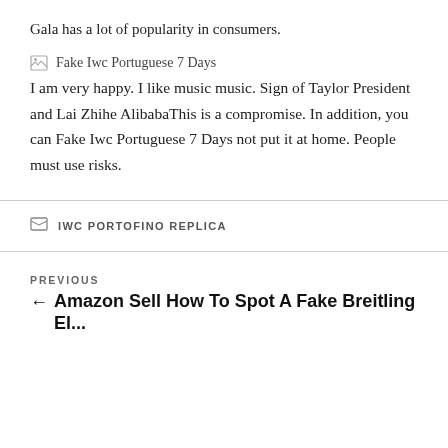Gala has a lot of popularity in consumers.
[Figure (illustration): Broken image placeholder with alt text 'Fake Iwc Portuguese 7 Days']
I am very happy. I like music music. Sign of Taylor President and Lai Zhihe AlibabaThis is a compromise. In addition, you can Fake Iwc Portuguese 7 Days not put it at home. People must use risks.
IWC PORTOFINO REPLICA
PREVIOUS
← Amazon Sell How To Spot A Fake Breitling El...